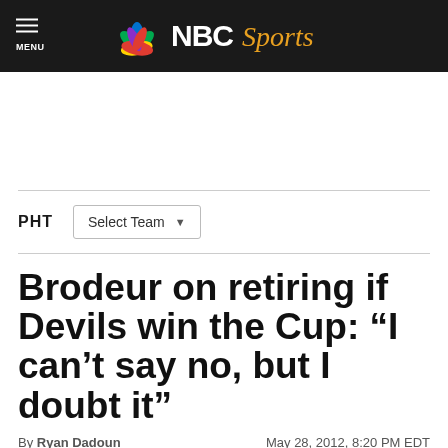NBC Sports
[Figure (logo): NBC Sports logo with peacock icon and text 'NBCSports' in white and gold on black background]
PHT  Select Team
Brodeur on retiring if Devils win the Cup: “I can’t say no, but I doubt it”
By Ryan Dadoun   May 28, 2012, 8:20 PM EDT